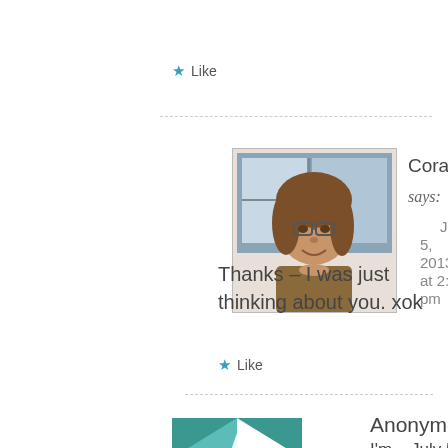★ Like
[Figure (photo): Avatar photo of Coral Cottage Kim, a woman with glasses and brown hair]
Coral Cottage Kim says:
July 5, 2013 at 2:20 pm
Thanks – I was just thinking about you. xok
★ Like
[Figure (illustration): Avatar placeholder with teal geometric quilt pattern]
Anonymous says:
I'm   July 5, 2013 at 7:20 pm